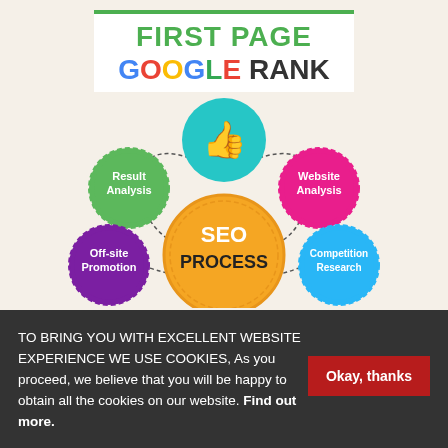FIRST PAGE GOOGLE RANK
[Figure (infographic): SEO Process infographic showing a central orange circle labeled 'SEO PROCESS' with four surrounding circles: teal circle with thumbs up icon at top, green dashed circle 'Result Analysis' at left, pink dashed circle 'Website Analysis' at right, purple dashed circle 'Off-site Promotion' at bottom-left, blue dashed circle 'Competition Research' at bottom-right. Connected by curved dashed lines on a beige background.]
TO BRING YOU WITH EXCELLENT WEBSITE EXPERIENCE WE USE COOKIES, As you proceed, we believe that you will be happy to obtain all the cookies on our website. Find out more.
Okay, thanks